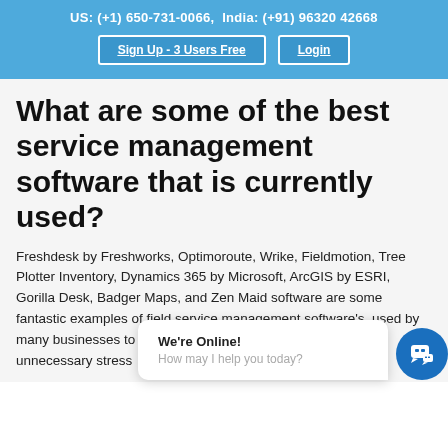US: (+1) 650-731-0066,  India: (+91) 96320 42668
Sign Up - 3 Users Free
Login
What are some of the best service management software that is currently used?
Freshdesk by Freshworks, Optimoroute, Wrike, Fieldmotion, Tree Plotter Inventory, Dynamics 365 by Microsoft, ArcGIS by ESRI, Gorilla Desk, Badger Maps, and Zen Maid software are some fantastic examples of field service management software's, used by many businesses to efficiently manage th... en and unnecessary str...
We're Online! How may I help you today?